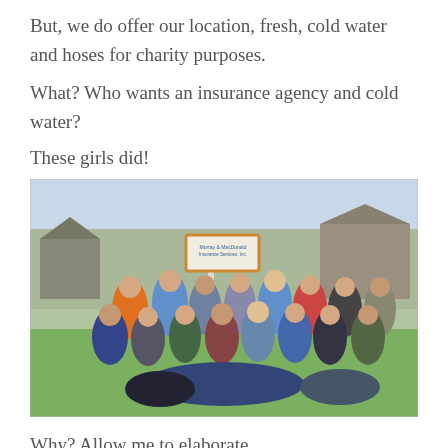But, we do offer our location, fresh, cold water and hoses for charity purposes.
What? Who wants an insurance agency and cold water?
These girls did!
[Figure (photo): Group photo of approximately 20 young women posing outside in front of a Murray & MacDonald Insurance Services, Inc. sign, on a sunny day on a green lawn.]
Why? Allow me to elaborate.
We allow students and charities to raise money by hosting car washes at our Falmouth location at 406 Jones Road.